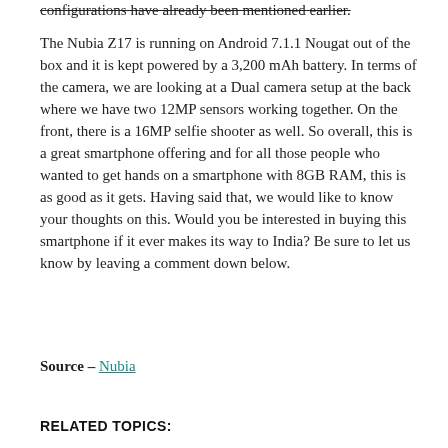configurations have already been mentioned earlier.
The Nubia Z17 is running on Android 7.1.1 Nougat out of the box and it is kept powered by a 3,200 mAh battery. In terms of the camera, we are looking at a Dual camera setup at the back where we have two 12MP sensors working together. On the front, there is a 16MP selfie shooter as well. So overall, this is a great smartphone offering and for all those people who wanted to get hands on a smartphone with 8GB RAM, this is as good as it gets. Having said that, we would like to know your thoughts on this. Would you be interested in buying this smartphone if it ever makes its way to India? Be sure to let us know by leaving a comment down below.
Source – Nubia
RELATED TOPICS: